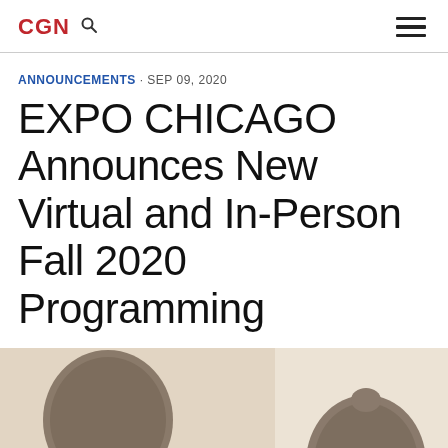CGN [search icon] [hamburger menu]
ANNOUNCEMENTS · SEP 09, 2020
EXPO CHICAGO Announces New Virtual and In-Person Fall 2020 Programming
[Figure (photo): Sculptural ceramic or metal circular disc artworks arranged on a light surface]